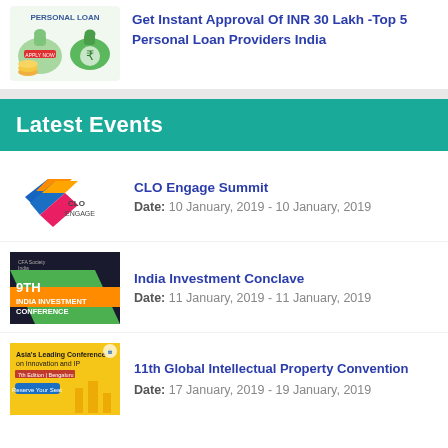[Figure (illustration): Personal Loan advertisement image with money bags and rupee symbol]
Get Instant Approval Of INR 30 Lakh -Top 5 Personal Loan Providers India
Latest Events
[Figure (logo): CLO Engage Summit logo with colored geometric shapes]
CLO Engage Summit
Date: 10 January, 2019 - 10 January, 2019
[Figure (illustration): 9th India Investment Conference banner with CFA Society India logo, green and orange design]
India Investment Conclave
Date: 11 January, 2019 - 11 January, 2019
[Figure (illustration): Asia's Leading Conference on Innovation and IP thumbnail with yellow background]
11th Global Intellectual Property Convention
Date: 17 January, 2019 - 19 January, 2019